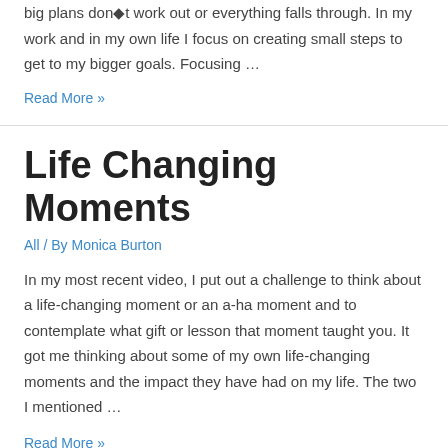big plans don●t work out or everything falls through. In my work and in my own life I focus on creating small steps to get to my bigger goals. Focusing …
Read More »
Life Changing Moments
All / By Monica Burton
In my most recent video, I put out a challenge to think about a life-changing moment or an a-ha moment and to contemplate what gift or lesson that moment taught you. It got me thinking about some of my own life-changing moments and the impact they have had on my life. The two I mentioned …
Read More »